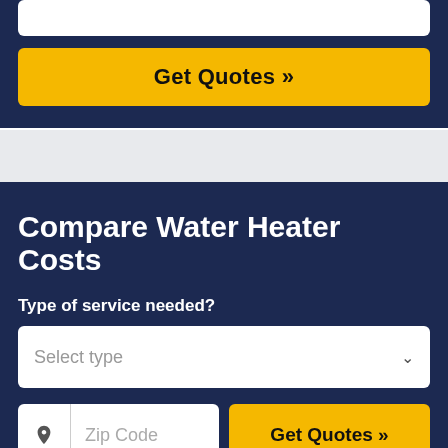[Figure (screenshot): Top section with dark navy background showing a partial white input bar and a large yellow 'Get Quotes >>' button]
Get Quotes »
Compare Water Heater Costs
Type of service needed?
Select type
Zip Code
Get Quotes »